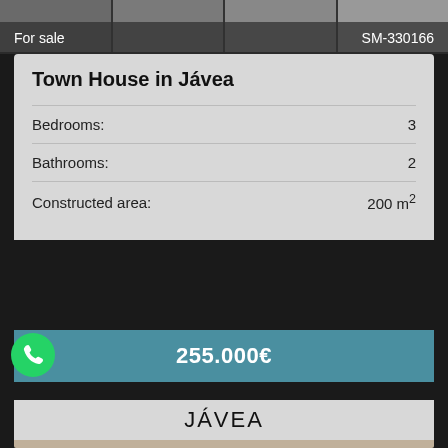[Figure (photo): Top strip of property interior photos]
For sale   SM-330166
Town House in Jávea
| Feature | Value |
| --- | --- |
| Bedrooms: | 3 |
| Bathrooms: | 2 |
| Constructed area: | 200 m² |
255.000€
JÁVEA
[Figure (photo): Interior photo of the town house showing arched hallway with pendant light, artwork, and exposed stone walls]